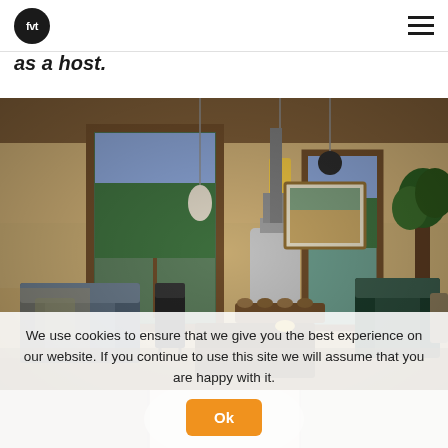fvt logo and navigation menu
as a host.
[Figure (photo): Interior living room of a rustic home with large windows showing green hills, pendant lights, a wood-burning stove, sofa, armchairs, a dark wooden coffee table, and indoor plants.]
We use cookies to ensure that we give you the best experience on our website. If you continue to use this site we will assume that you are happy with it.
[Figure (photo): Partial view of a brightly lit interior room, bottom strip.]